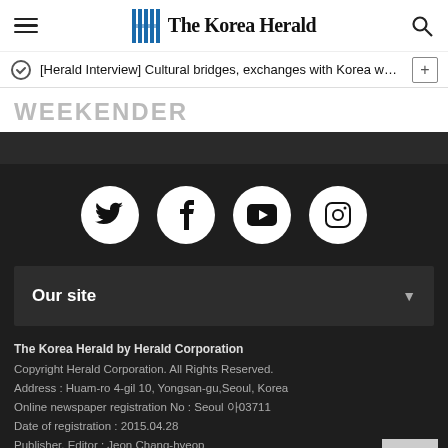The Korea Herald
[Herald Interview] Cultural bridges, exchanges with Korea would…
WEEKENDER
[Figure (logo): Social media icons: Twitter, Facebook, YouTube, Instagram on dark background]
Our site
The Korea Herald by Herald Corporation
Copyright Herald Corporation. All Rights Reserved.
Address : Huam-ro 4-gil 10, Yongsan-gu,Seoul, Korea
Online newspaper registration No : Seoul 아03711
Date of registration : 2015.04.28
Publisher. Editor : Jeon Chang-hyeop
Juvenile Protection Manager: Ahn Sung-mi
Tel : 02.727.0114